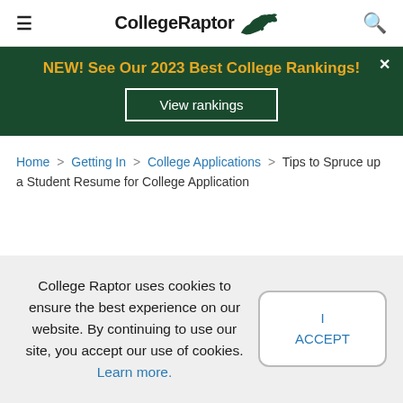CollegeRaptor [hamburger menu] [search icon]
[Figure (infographic): Dark green banner with gold bold text: NEW! See Our 2023 Best College Rankings! and a white-outlined button: View rankings. Close X button top right.]
Home > Getting In > College Applications > Tips to Spruce up a Student Resume for College Application
College Raptor uses cookies to ensure the best experience on our website. By continuing to use our site, you accept our use of cookies. Learn more.
I ACCEPT